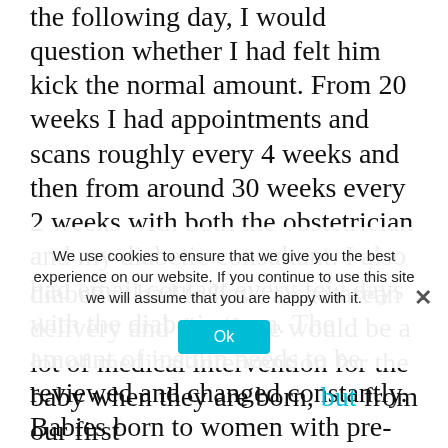the following day, I would question whether I had felt him kick the normal amount. From 20 weeks I had appointments and scans roughly every 4 weeks and then from around 30 weeks every 2 weeks with both the obstetrician and my diabetic consultant. I also had email contact every few days with the diabetic team. The amount of insulin needs to be reviewed and changed constantly. Babies born to women with pre-pregnancy diabetes have a risk of twice as many complications as babies born to women without diabetes, these risks can be reduced with really tight control of the diabetes before and during the pregnancy.
We use cookies to ensure that we give you the best experience on our website. If you continue to use this site we will assume that you are happy with it.
diabetics had to have a caesarean delivery and that there would be a lot of medical intervention for the baby when they are born, but from our first